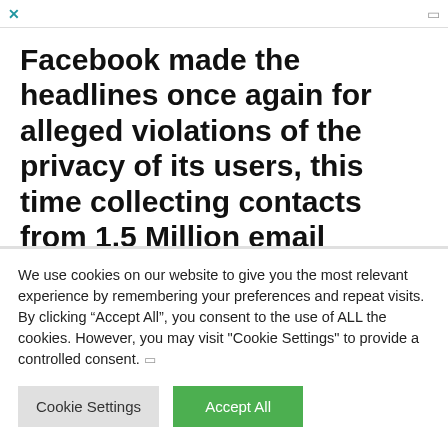Facebook made the headlines once again for alleged violations of the privacy of its users, this time collecting contacts from 1.5 Million email accounts without permission.
New problems for Facebook, the company collected
We use cookies on our website to give you the most relevant experience by remembering your preferences and repeat visits. By clicking “Accept All”, you consent to the use of ALL the cookies. However, you may visit "Cookie Settings" to provide a controlled consent.